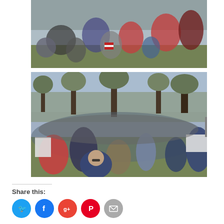[Figure (photo): Outdoor crowd scene at a rally, people seated and standing on a lawn, American flags visible, daytime]
[Figure (photo): Large outdoor crowd at a public rally in a park, bare trees in background, people holding signs including 'Our Const', yellow flag visible, daytime]
Share this:
[Figure (infographic): Social media share buttons: Twitter (blue), Facebook (blue), Google+ (red), Pinterest (red), Email (grey)]